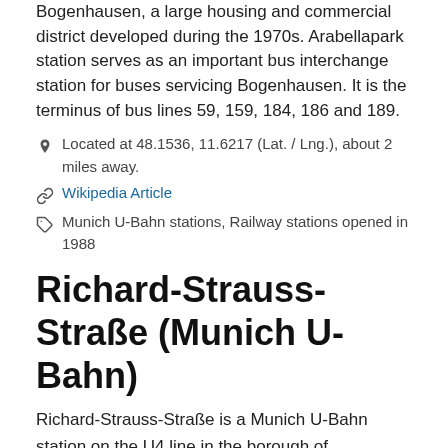Bogenhausen, a large housing and commercial district developed during the 1970s. Arabellapark station serves as an important bus interchange station for buses servicing Bogenhausen. It is the terminus of bus lines 59, 159, 184, 186 and 189.
Located at 48.1536, 11.6217 (Lat. / Lng.), about 2 miles away.
Wikipedia Article
Munich U-Bahn stations, Railway stations opened in 1988
Richard-Strauss-Straße (Munich U-Bahn)
Richard-Strauss-Straße is a Munich U-Bahn station on the U4 line in the borough of Bogenhausen. It is located on the eastern fringe of Alt-Bogenhausen, the borough's traditional core district. The station takes its name from Richard-Strauss-Straße, part of the Mittlerer Ring road system, that runs above the U-Bahn tracks, which was named for the famed German composer Richard Strauss.